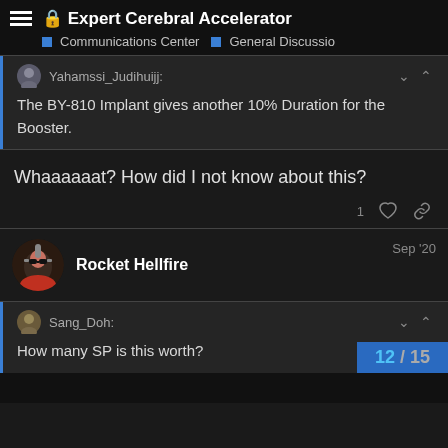Expert Cerebral Accelerator | Communications Center > General Discussio
Yahamssi_Judihuijj: The BY-810 Implant gives another 10% Duration for the Booster.
Whaaaaaat? How did I not know about this?
Rocket Hellfire  Sep '20
Sang_Doh: How many SP is this worth?
12 / 15